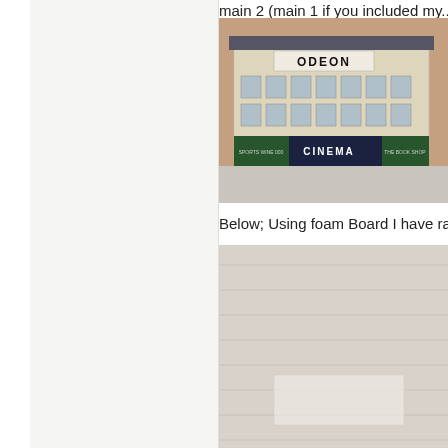main 2 (main 1 if you included my...
[Figure (photo): Photo of a model/miniature ODEON cinema building with 'CINEMA' sign on the front, showing a multi-storey building facade with windows, street-level shops including green-fronted stores on either side]
Below; Using foam Board I have ra...
[Figure (photo): Photo of foam board construction material or model base on a wooden surface]